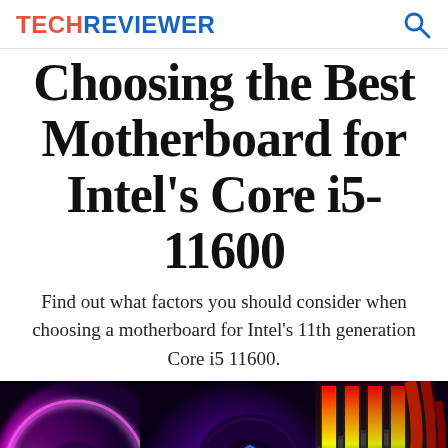TECHREVIEWER
Choosing the Best Motherboard for Intel's Core i5-11600
Find out what factors you should consider when choosing a motherboard for Intel's 11th generation Core i5 11600.
[Figure (photo): RGB-lit PC components including a CPU cooler fan with glowing pink/purple light, a hexagonal glowing element, RGB RAM sticks showing rainbow colors, cables, and motherboard components photographed in dark lighting.]